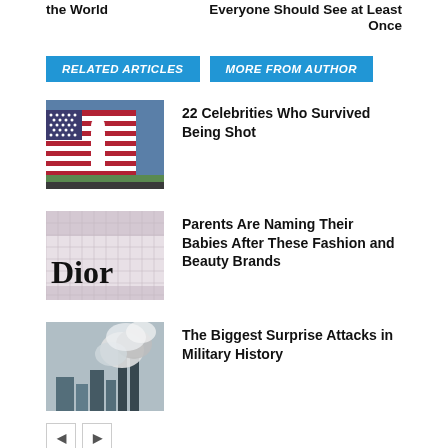the World
Everyone Should See at Least Once
RELATED ARTICLES
MORE FROM AUTHOR
[Figure (photo): Person in front of large American flag on a baseball field]
22 Celebrities Who Survived Being Shot
[Figure (photo): Dior brand sign close-up]
Parents Are Naming Their Babies After These Fashion and Beauty Brands
[Figure (photo): Smoke rising from buildings, September 11 attack scene]
The Biggest Surprise Attacks in Military History